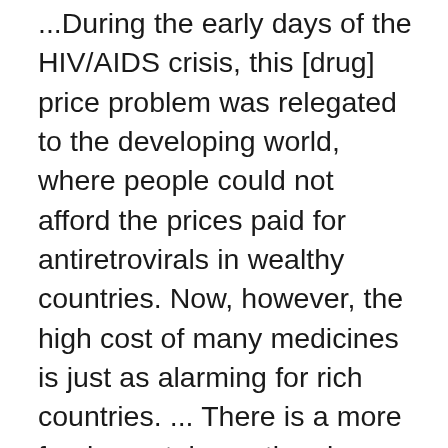...During the early days of the HIV/AIDS crisis, this [drug] price problem was relegated to the developing world, where people could not afford the prices paid for antiretrovirals in wealthy countries. Now, however, the high cost of many medicines is just as alarming for rich countries. ... There is a more fundamental question: is there a better system for creating incentives to produce life-saving medicines priced at a level that means they can reach everyone? ... The solution requires reform of the way that medicines are priced so that investments in R&D are separated from what companies charge. Delinking, through alternative models such as providing prizes instead of patents, would allow generic competitors to enter the market immediately while maintaining the rewards necessary to spur innovation. Research by Save